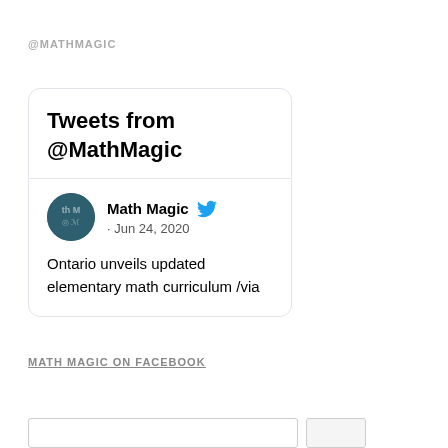@MATHMAGIC
[Figure (screenshot): Twitter widget card showing 'Tweets from @MathMagic' with a tweet by Math Magic dated Jun 24, 2020 about Ontario unveils updated elementary math curriculum /via]
MATH MAGIC ON FACEBOOK